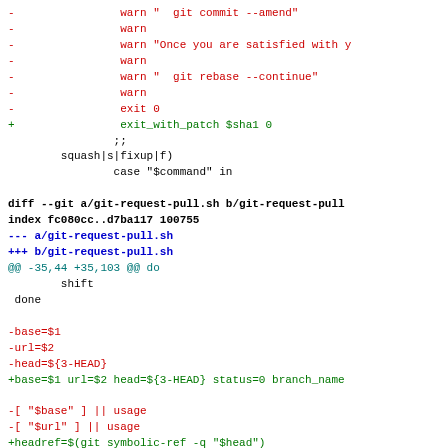[Figure (screenshot): A unified diff output showing changes to git-rebase and git-request-pull.sh scripts, with red lines indicating removed code and green lines indicating added code, displayed in monospace font.]